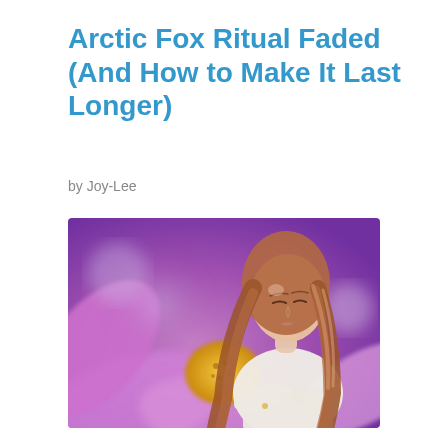Arctic Fox Ritual Faded (And How to Make It Last Longer)
by Joy-Lee
[Figure (photo): Young woman with long auburn hair wearing a white sweater, looking down thoughtfully, against a blurred purple/violet background with a large flower with yellow center visible behind her.]